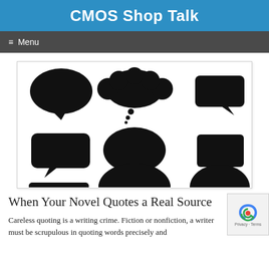CMOS Shop Talk
≡ Menu
[Figure (illustration): Grid of nine black speech bubble and thought bubble icons on a white background, arranged in three rows and three columns. Top row: round speech bubble, cloud-style thought bubble, rectangular speech bubble. Middle row: rounded rectangle speech bubble, oval speech bubble with tail, quadrilateral speech bubble. Bottom row: wide rectangular speech bubble, large oval speech bubble, oval speech bubble.]
When Your Novel Quotes a Real Source
Careless quoting is a writing crime. Fiction or nonfiction, a writer must be scrupulous in quoting words precisely and